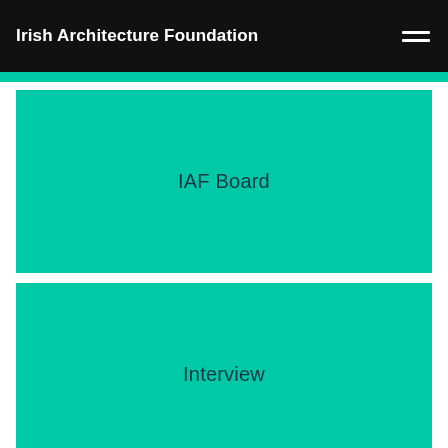Irish Architecture Foundation
IAF Board
Interview
Ireland at Venice